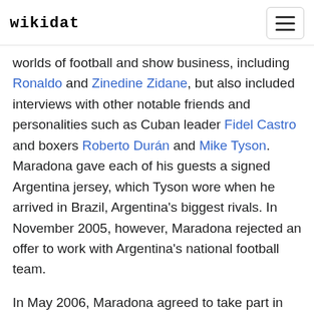wikidat
worlds of football and show business, including Ronaldo and Zinedine Zidane, but also included interviews with other notable friends and personalities such as Cuban leader Fidel Castro and boxers Roberto Durán and Mike Tyson. Maradona gave each of his guests a signed Argentina jersey, which Tyson wore when he arrived in Brazil, Argentina's biggest rivals. In November 2005, however, Maradona rejected an offer to work with Argentina's national football team.
In May 2006, Maradona agreed to take part in UK's Soccer Aid (a program to raise money for UNICEF). In September 2006, Maradona, in his famous blue and white number 10, was the captain for Argentina in a three-day World Cup of Indoor Football tournament in Spain. On 26 August 2006, it was announced that Maradona was quitting his position in the club Boca Juniors because of disagreements with the